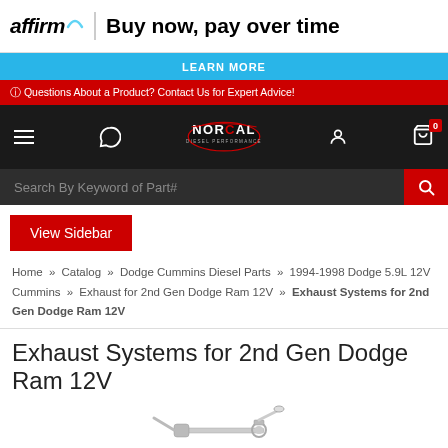[Figure (logo): Affirm logo with arc above 'm' and text 'Buy now, pay over time']
LEARN MORE
Questions About a Product? Contact Us for Expert Advice!
[Figure (logo): NorCal Diesel Performance logo]
Search By Keyword of Part#
View Sidebar
Home » Catalog » Dodge Cummins Diesel Parts » 1994-1998 Dodge 5.9L 12V Cummins » Exhaust for 2nd Gen Dodge Ram 12V » Exhaust Systems for 2nd Gen Dodge Ram 12V
Exhaust Systems for 2nd Gen Dodge Ram 12V
[Figure (photo): Exhaust system product photo showing chrome/silver exhaust pipes and tip]